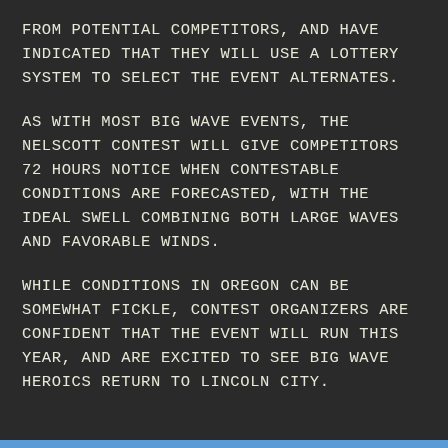FROM POTENTIAL COMPETITORS, AND HAVE INDICATED THAT THEY WILL USE A LOTTERY SYSTEM TO SELECT THE EVENT ALTERNATES.
AS WITH MOST BIG WAVE EVENTS, THE NELSCOTT CONTEST WILL GIVE COMPETITORS 72 HOURS NOTICE WHEN CONTESTABLE CONDITIONS ARE FORECASTED, WITH THE IDEAL SWELL COMBINING BOTH LARGE WAVES AND FAVORABLE WINDS.
WHILE CONDITIONS IN OREGON CAN BE SOMEWHAT FICKLE, CONTEST ORGANIZERS ARE CONFIDENT THAT THE EVENT WILL RUN THIS YEAR, AND ARE EXCITED TO SEE BIG WAVE HEROICS RETURN TO LINCOLN CITY.